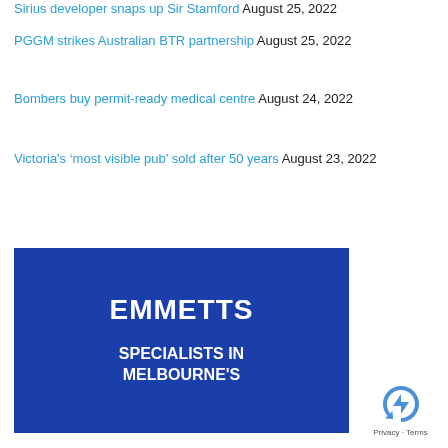Sirius developer snaps up Sir Stamford August 25, 2022
PGGM strikes Australian BTR partnership August 25, 2022
Bombers buy permit-ready medical centre August 24, 2022
Victoria's ‘most visible pub’ sold after 50 years August 23, 2022
[Figure (logo): Emmetts real estate logo on blue background with text EMMETTS and SPECIALISTS IN MELBOURNE'S]
[Figure (other): Google reCAPTCHA badge with Privacy and Terms links]